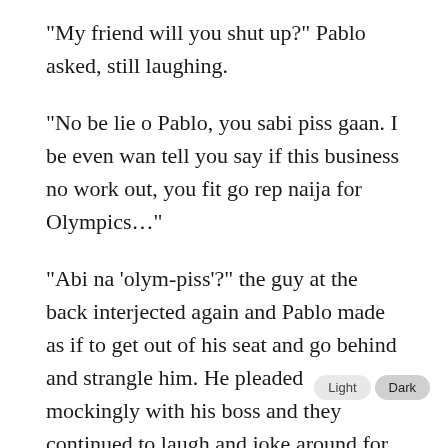“My friend will you shut up?” Pablo asked, still laughing.
“No be lie o Pablo, you sabi piss gaan. I be even wan tell you say if this business no work out, you fit go rep naija for Olympics…”
“Abi na ‘olym-piss’?” the guy at the back interjected again and Pablo made as if to get out of his seat and go behind and strangle him. He pleaded mockingly with his boss and they continued to laugh and joke around for a while.
“On to business,” Pablo addressed the guy sitting behind him, “check under the seat, pull out the duffel bag.”
The man did as instructed and passed the bag counterpart in front who opened it, looked once outside the